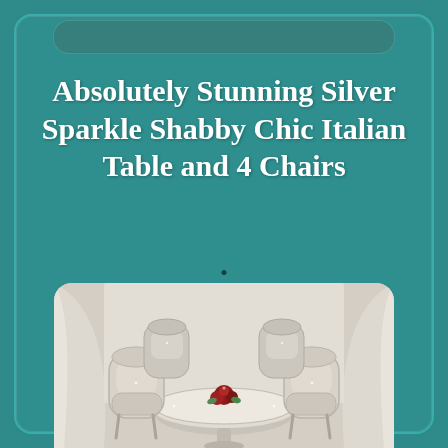Absolutely Stunning Silver Sparkle Shabby Chic Italian Table and 4 Chairs
[Figure (photo): A silver sparkle shabby chic Italian dining set featuring a round white/silver table and four ornate upholstered chairs in cream/silver tones, with decorative flowers on the table and draped fabric in the background.]